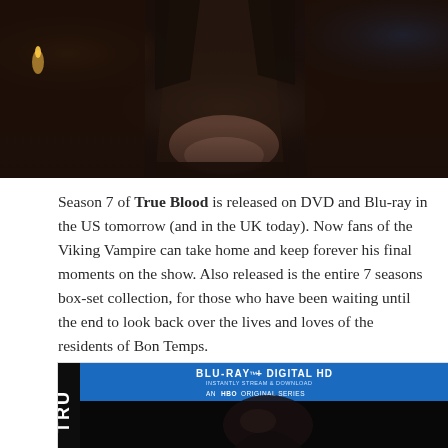[Figure (photo): Dark moody photo showing a person with exposed midriff in dark lighting, waistband visible]
Season 7 of True Blood is released on DVD and Blu-ray in the US tomorrow (and in the UK today). Now fans of the Viking Vampire can take home and keep forever his final moments on the show. Also released is the entire 7 seasons box-set collection, for those who have been waiting until the end to look back over the lives and loves of the residents of Bon Temps.
[Figure (photo): True Blood Blu-ray + Digital HD box set packaging. An HBO Original Series. Shows BLU-RAY + DIGITAL HD text at top in blue band, with dark image below showing face of person.]